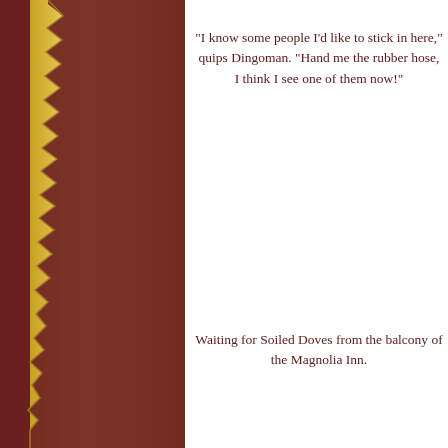[Figure (illustration): Decorative left panel with dark brown background and a golden/tan vertical strip with torn paper edge effect]
"I know some people I'd like to stick in here," quips Dingoman. "Hand me the rubber hose, I think I see one of them now!"
Waiting for Soiled Doves from the balcony of the Magnolia Inn.